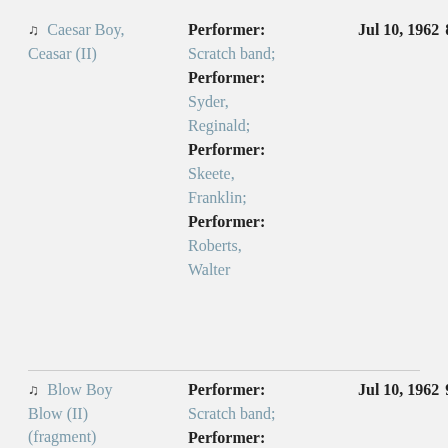♫ Caesar Boy, Ceasar (II) | Performer: Scratch band; Performer: Syder, Reginald; Performer: Skeete, Franklin; Performer: Roberts, Walter | Jul 10, 1962  8
♫ Blow Boy Blow (II) (fragment) | Performer: Scratch band; Performer: | Jul 10, 1962  9